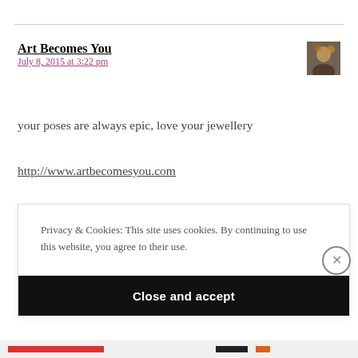Art Becomes You
July 8, 2015 at 3:22 pm
your poses are always epic, love your jewellery
http://www.artbecomesyou.com
Privacy & Cookies: This site uses cookies. By continuing to use this website, you agree to their use.
To find out more, including how to control cookies, see here: Cookie Policy
Close and accept